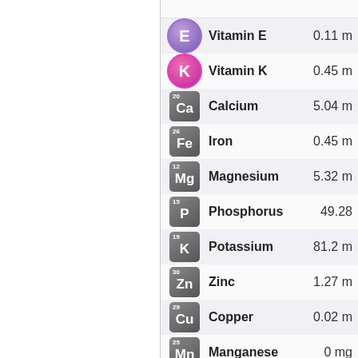| Icon | Nutrient | Value |
| --- | --- | --- |
| E | Vitamin E | 0.11 m |
| K | Vitamin K | 0.45 m |
| Ca 20 | Calcium | 5.04 m |
| Fe 26 | Iron | 0.45 m |
| Mg 12 | Magnesium | 5.32 m |
| P 15 | Phosphorus | 49.28 |
| K 19 | Potassium | 81.2 m |
| Zn 30 | Zinc | 1.27 m |
| Cu 29 | Copper | 0.02 m |
| Mn 25 | Manganese | 0 mg |